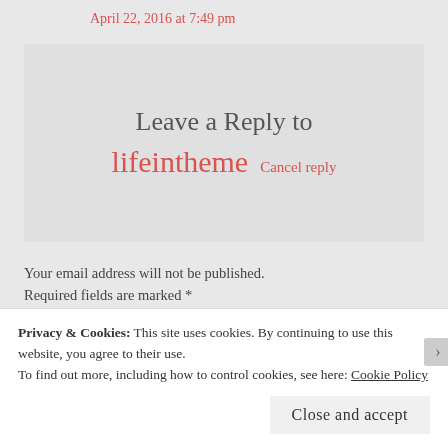April 22, 2016 at 7:49 pm
Leave a Reply to lifeintheme Cancel reply
Your email address will not be published. Required fields are marked *
Comment *
Privacy & Cookies: This site uses cookies. By continuing to use this website, you agree to their use.
To find out more, including how to control cookies, see here: Cookie Policy
Close and accept